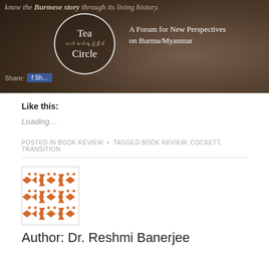[Figure (screenshot): Tea Circle website header banner with logo circle showing 'Tea Circle' text and Myanmar script, subtitle 'A Forum for New Perspectives on Burma/Myanmar', dark brownish background with blurred tea cup. Share and menu button overlay visible.]
Like this:
Loading…
POSTED IN BOOK REVIEW  •  TAGGED BOOK REVIEW, COCKETT, TRANSITION
[Figure (illustration): Orange and white decorative geometric pattern avatar square image for author Dr. Reshmi Banerjee]
Author: Dr. Reshmi Banerjee